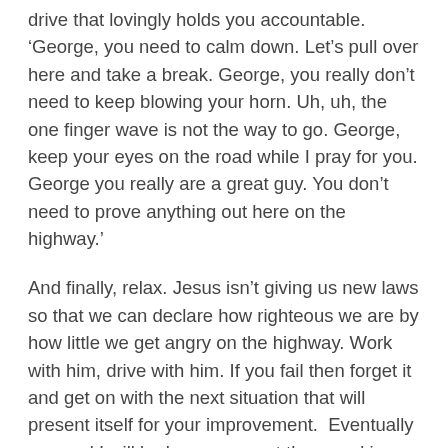drive that lovingly holds you accountable.  'George, you need to calm down. Let's pull over here and take a break. George, you really don't need to keep blowing your horn. Uh, uh, the one finger wave is not the way to go. George, keep your eyes on the road while I pray for you. George you really are a great guy. You don't need to prove anything out here on the highway.'
And finally, relax. Jesus isn't giving us new laws so that we can declare how righteous we are by how little we get angry on the highway. Work with him, drive with him. If you fail then forget it and get on with the next situation that will present itself for your improvement.  Eventually you and I will be less angry out there and in other circumstances and relationships as well.